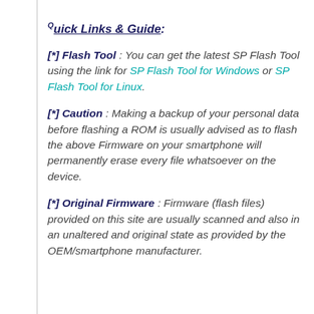Quick Links & Guide:
[*] Flash Tool : You can get the latest SP Flash Tool using the link for SP Flash Tool for Windows or SP Flash Tool for Linux.
[*] Caution : Making a backup of your personal data before flashing a ROM is usually advised as to flash the above Firmware on your smartphone will permanently erase every file whatsoever on the device.
[*] Original Firmware : Firmware (flash files) provided on this site are usually scanned and also in an unaltered and original state as provided by the OEM/smartphone manufacturer.